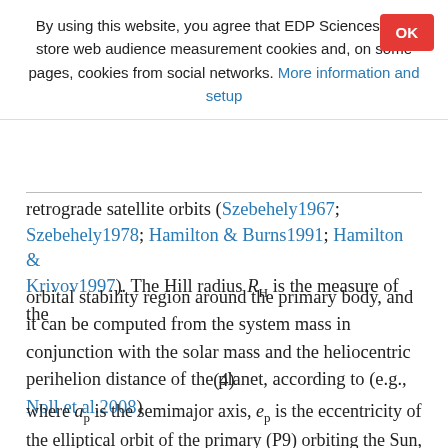By using this website, you agree that EDP Sciences may store web audience measurement cookies and, on some pages, cookies from social networks. More information and setup
retrograde satellite orbits (Szebehely1967; Szebehely1978; Hamilton & Burns1991; Hamilton & Krivov1997). The Hill radius R_H is the measure of the orbital stability region around the primary body, and it can be computed from the system mass in conjunction with the solar mass and the heliocentric perihelion distance of the planet, according to (e.g., Noll et al.2008)
where a_p is the semimajor axis, e_p is the eccentricity of the elliptical orbit of the primary (P9) orbiting the Sun, and a_p(1−e_p) is its perihelion distance, μ = m_p/m_⊙ is the